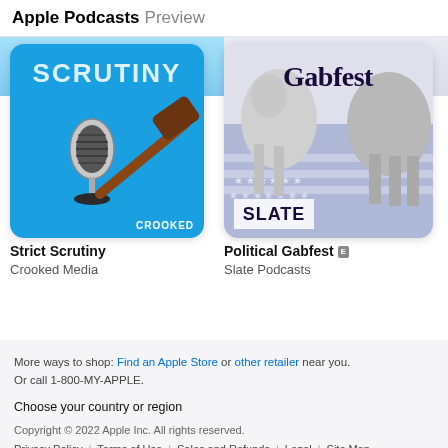Apple Podcasts Preview
[Figure (screenshot): Strict Scrutiny podcast artwork: blue background with microphone and gavel, text SCRUTINY, CROOKED at bottom]
Strict Scrutiny
Crooked Media
[Figure (screenshot): Political Gabfest podcast artwork: donkey and elephant on American flag background, text Gabfest, SLATE]
Political Gabfest [E]
Slate Podcasts
More ways to shop: Find an Apple Store or other retailer near you. Or call 1-800-MY-APPLE.
Choose your country or region
Copyright © 2022 Apple Inc. All rights reserved. | Privacy Policy | Terms of Use | Sales and Refunds | Legal | Site Map